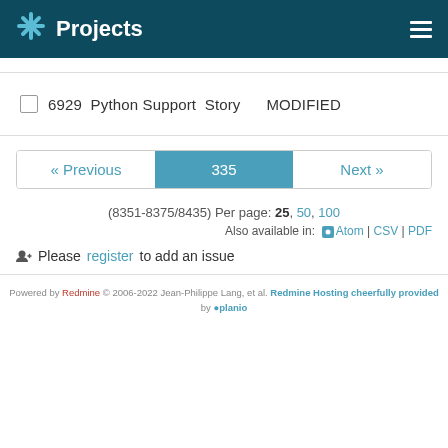Projects
6929  Python Support  Story       MODIFIED
« Previous   335   Next »
(8351-8375/8435) Per page: 25, 50, 100
Also available in: Atom | CSV | PDF
Please register to add an issue
Powered by Redmine © 2006-2022 Jean-Philippe Lang, et al. Redmine Hosting cheerfully provided by planio